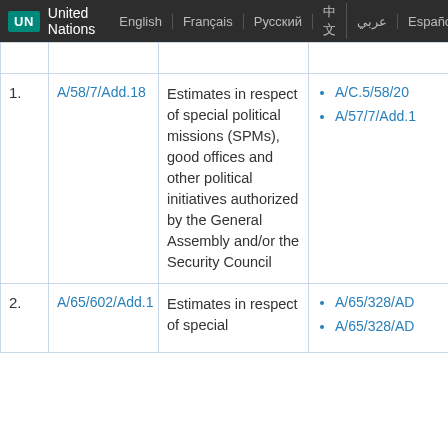UN | United Nations | English | Français | Русский | 中文 | عربي | Español
| # | Document | Description | Related documents |
| --- | --- | --- | --- |
| 1. | A/58/7/Add.18 | Estimates in respect of special political missions (SPMs), good offices and other political initiatives authorized by the General Assembly and/or the Security Council | • A/C.5/58/20
• A/57/7/Add.1 |
| 2. | A/65/602/Add.1 | Estimates in respect of special | • A/65/328/AD
• A/65/328/AD |